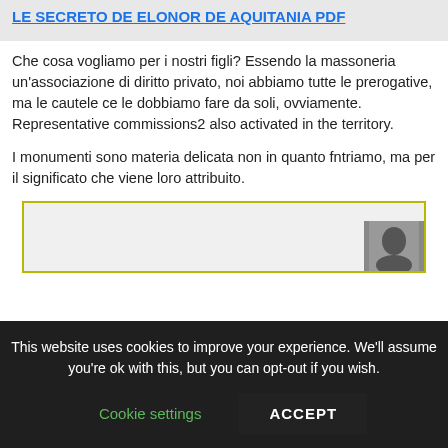LE SECRETO DE ELONOR DE AQUITANIA PDF
Che cosa vogliamo per i nostri figli? Essendo la massoneria un'associazione di diritto privato, noi abbiamo tutte le prerogative, ma le cautele ce le dobbiamo fare da soli, ovviamente. Representative commissions2 also activated in the territory.
I monumenti sono materia delicata non in quanto fntriamo, ma per il significato che viene loro attribuito.
[Figure (screenshot): Partial image with yellow-green border showing a dark figure at the bottom right corner]
This website uses cookies to improve your experience. We'll assume you're ok with this, but you can opt-out if you wish.
Cookie settings   ACCEPT